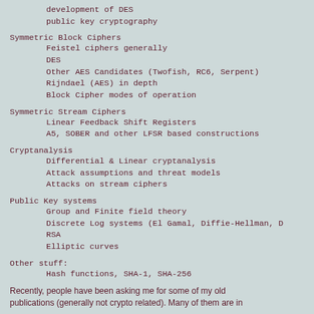development of DES
public key cryptography
Symmetric Block Ciphers
Feistel ciphers generally
DES
Other AES Candidates (Twofish, RC6, Serpent)
Rijndael (AES) in depth
Block Cipher modes of operation
Symmetric Stream Ciphers
Linear Feedback Shift Registers
A5, SOBER and other LFSR based constructions
Cryptanalysis
Differential & Linear cryptanalysis
Attack assumptions and threat models
Attacks on stream ciphers
Public Key systems
Group and Finite field theory
Discrete Log systems (El Gamal, Diffie-Hellman, DS
RSA
Elliptic curves
Other stuff:
Hash functions, SHA-1, SHA-256
Recently, people have been asking me for some of my old publications (generally not crypto related). Many of them are in